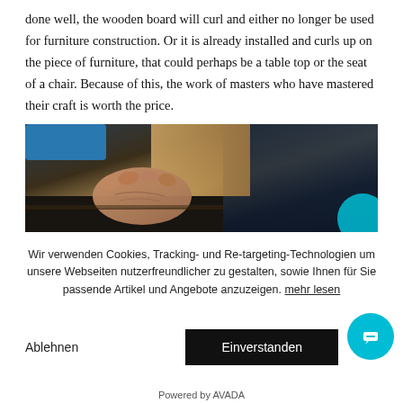done well, the wooden board will curl and either no longer be used for furniture construction. Or it is already installed and curls up on the piece of furniture, that could perhaps be a table top or the seat of a chair. Because of this, the work of masters who have mastered their craft is worth the price.
[Figure (photo): Close-up photo of a craftsman's hands working on a piece of wood, showing weathered hands against dark fabric/clothing]
Wir verwenden Cookies, Tracking- und Re-targeting-Technologien um unsere Webseiten nutzerfreundlicher zu gestalten, sowie Ihnen für Sie passende Artikel und Angebote anzuzeigen. mehr lesen
Ablehnen
Einverstanden
Powered by AVADA